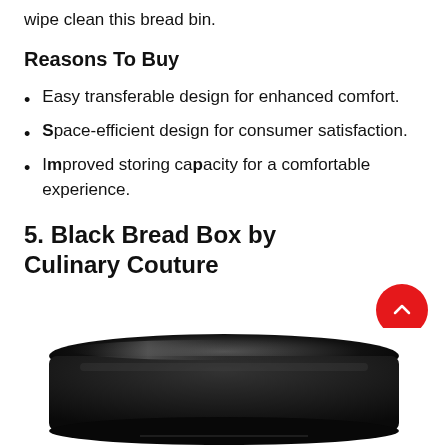wipe clean this bread bin.
Reasons To Buy
Easy transferable design for enhanced comfort.
Space-efficient design for consumer satisfaction.
Improved storing capacity for a comfortable experience.
5. Black Bread Box by Culinary Couture
[Figure (photo): Black bread box by Culinary Couture — a sleek black rectangular container with rounded corners, viewed from slightly above, on a white background.]